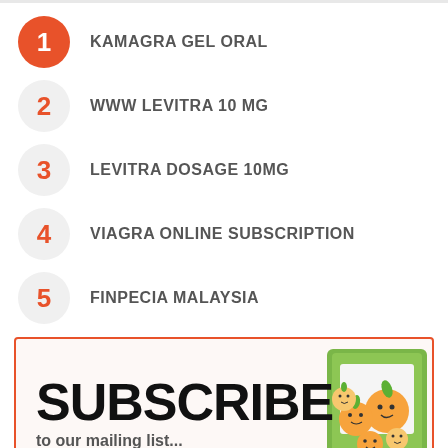1. KAMAGRA GEL ORAL
2. WWW LEVITRA 10 MG
3. LEVITRA DOSAGE 10MG
4. VIAGRA ONLINE SUBSCRIPTION
5. FINPECIA MALAYSIA
[Figure (infographic): Subscribe box with large bold SUBSCRIBE text and cartoon orange characters illustration on the right, with partial text below]